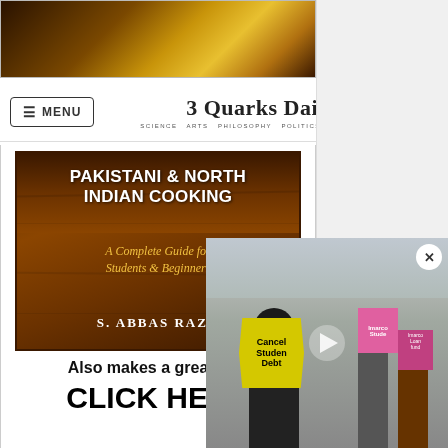[Figure (photo): Top portion of a food/cooking image showing a dish on a wooden surface, partially cropped]
3 Quarks Daily
SCIENCE ARTS PHILOSOPHY POLITICS LITERATURE
[Figure (illustration): Book advertisement for 'Pakistani & North Indian Cooking: A Complete Guide for Students & Beginners' by S. Abbas Raza, with text 'Also makes a great gift!' and 'CLICK HERE']
[Figure (photo): Video overlay showing protest scene with people holding signs including 'Cancel Student Debt' signs]